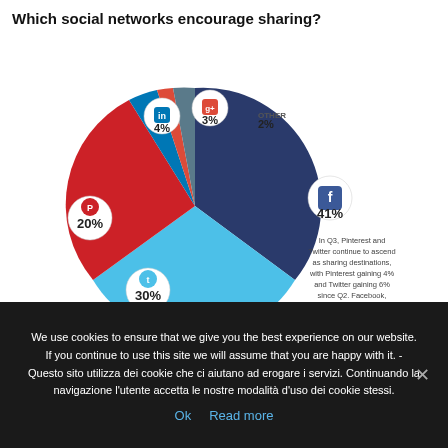Which social networks encourage sharing?
[Figure (pie-chart): Which social networks encourage sharing?]
In Q3, Pinterest and Twitter continue to ascend as sharing destinations, with Pinterest gaining 4% and Twitter gaining 6% since Q2. Facebook, meanwhile, saw its percentage of shares drop 9% from last quarter, dropping below 50%.
How popular is mobile search and how effective is our mobile
We use cookies to ensure that we give you the best experience on our website. If you continue to use this site we will assume that you are happy with it. - Questo sito utilizza dei cookie che ci aiutano ad erogare i servizi. Continuando la navigazione l'utente accetta le nostre modalità d'uso dei cookie stessi.